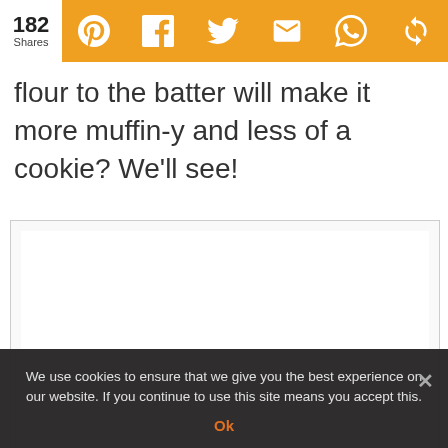182 Shares
flour to the batter will make it more muffin-y and less of a cookie? We'll see!
[Figure (other): Recipe card box with a Print Recipe button at the bottom]
We use cookies to ensure that we give you the best experience on our website. If you continue to use this site means you accept this.
Ok